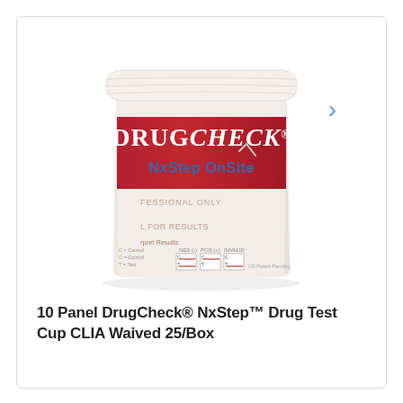[Figure (photo): A DrugCheck NxStep OnSite drug test cup with a white lid, red label band showing 'DrugCheck' in white serif text and 'NxStep OnSite' in bold blue text below. The cup label shows 'FOR PROFESSIONAL ONLY', 'FOR RESULTS', and a legend diagram with NBS(-), POS(+), and INVALID result indicators. US Patent Pending noted at bottom right.]
10 Panel DrugCheck® NxStep™ Drug Test Cup CLIA Waived 25/Box